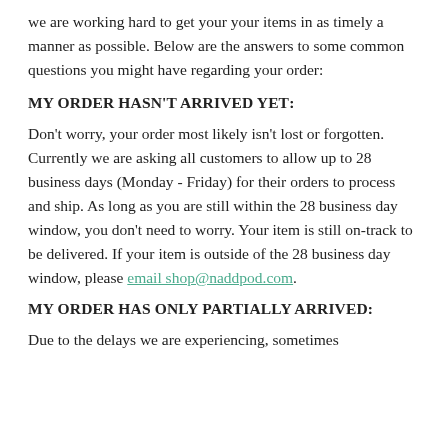we are working hard to get your your items in as timely a manner as possible. Below are the answers to some common questions you might have regarding your order:
MY ORDER HASN'T ARRIVED YET:
Don't worry, your order most likely isn't lost or forgotten. Currently we are asking all customers to allow up to 28 business days (Monday - Friday) for their orders to process and ship. As long as you are still within the 28 business day window, you don't need to worry. Your item is still on-track to be delivered. If your item is outside of the 28 business day window, please email shop@naddpod.com.
MY ORDER HAS ONLY PARTIALLY ARRIVED:
Due to the delays we are experiencing, sometimes